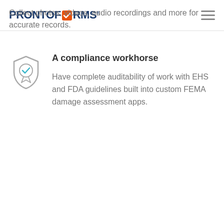PRONTOFORMS
Collect photos, videos, audio recordings and more for accurate records.
[Figure (illustration): Shield icon with a ribbon/award badge and a blue checkmark inside, representing compliance]
A compliance workhorse
Have complete auditability of work with EHS and FDA guidelines built into custom FEMA damage assessment apps.